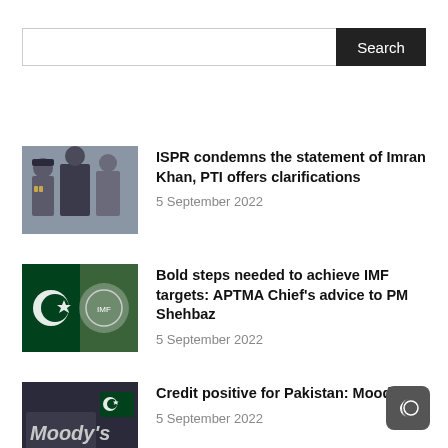Search
[Figure (photo): Photo of military officers and Imran Khan]
ISPR condemns the statement of Imran Khan, PTI offers clarifications
5 September 2022
[Figure (photo): Photo of Pakistan flag and IMF logo]
Bold steps needed to achieve IMF targets: APTMA Chief's advice to PM Shehbaz
5 September 2022
[Figure (photo): Photo of Moody's sign with Pakistan flag]
Credit positive for Pakistan: Moody's
5 September 2022